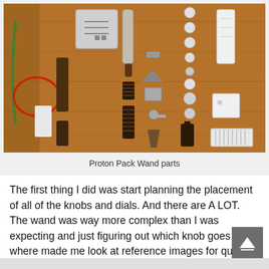[Figure (photo): Flat lay of Proton Pack Wand parts arranged on a wooden surface, including metal housing, tubes, springs, screws, knobs, and other small components.]
Proton Pack Wand parts
The first thing I did was start planning the placement of all of the knobs and dials. And there are A LOT. The wand was way more complex than I was expecting and just figuring out which knob goes where made me look at reference images for quite a long time.